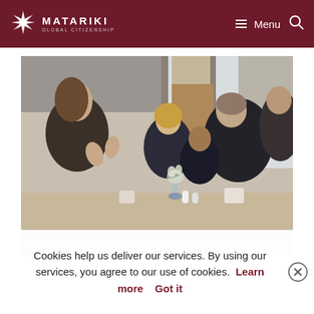MATARIKI GLOBAL CITIZENSHIP — Menu
[Figure (photo): Group of women sitting around a cafe table having a discussion. One woman on the left is talking with her hands raised, while others around the table listen attentively. There is a vase with flowers on the table along with cups and condiments. Large windows in the background show an exterior building view.]
Cookies help us deliver our services. By using our services, you agree to our use of cookies. Learn more   Got it